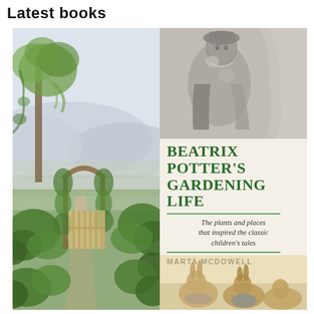Latest books
[Figure (illustration): Book cover of 'Beatrix Potter's Gardening Life' by Marta McDowell. Left half shows a watercolor painting of a garden scene with an arched gate, climbing plants, trees, and rolling hills in the background. Right half shows a vintage black-and-white photograph of a young Beatrix Potter holding a small animal, the book title in large green serif text, italic subtitle 'The plants and places that inspired the classic children's tales', author name 'MARTA McDOWELL', and a partial illustration of rabbits at the bottom.]